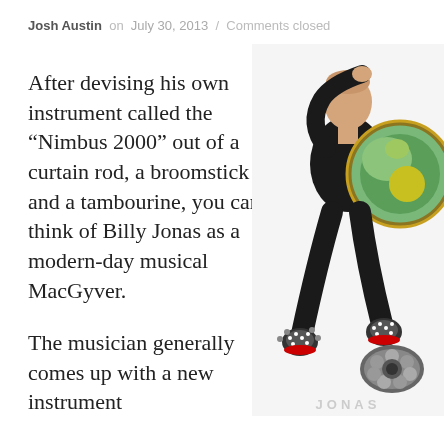Josh Austin on July 30, 2013 / Comments closed
After devising his own instrument called the “Nimbus 2000” out of a curtain rod, a broomstick and a tambourine, you can think of Billy Jonas as a modern-day musical MacGyver.
[Figure (photo): A man dressed in black holding a large round green/yellow drum-like instrument, wearing decorated shoes, with another percussion instrument on the floor beside him. Text 'JONAS' partially visible at bottom.]
The musician generally comes up with a new instrument